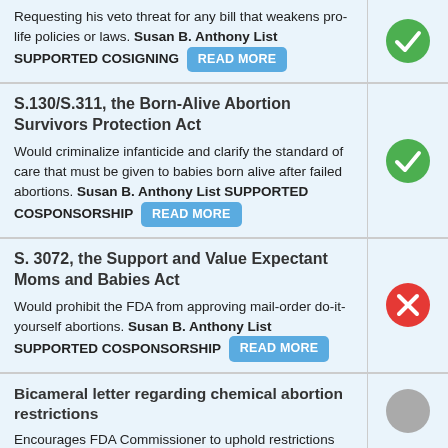Requesting his veto threat for any bill that weakens pro-life policies or laws. Susan B. Anthony List SUPPORTED COSIGNING READ MORE
S.130/S.311, the Born-Alive Abortion Survivors Protection Act
Would criminalize infanticide and clarify the standard of care that must be given to babies born alive after failed abortions. Susan B. Anthony List SUPPORTED COSPONSORSHIP READ MORE
S. 3072, the Support and Value Expectant Moms and Babies Act
Would prohibit the FDA from approving mail-order do-it-yourself abortions. Susan B. Anthony List SUPPORTED COSPONSORSHIP READ MORE
Bicameral letter regarding chemical abortion restrictions
Encourages FDA Commissioner to uphold restrictions